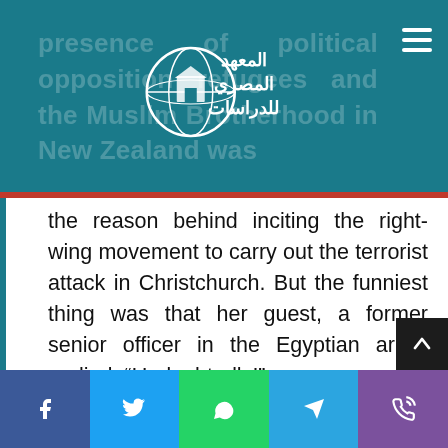presence of political opposition refugees and the Muslim Brotherhood in New Zealand was
[Figure (logo): Logo of Al-Masry Al-Arab Institute for Studies - globe with Egyptian monument icon and Arabic text]
the reason behind inciting the right-wing movement to carry out the terrorist attack in Christchurch. But the funniest thing was that her guest, a former senior officer in the Egyptian army, replied, “Undoubtedly!”
Also, Major General Nasr Salem, director of the Egyptian military intelligence,
Facebook | Twitter | WhatsApp | Telegram | Viber share buttons